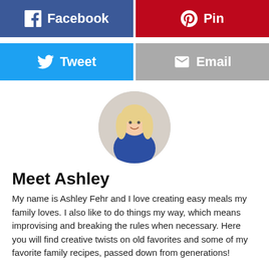[Figure (infographic): Social share buttons: Facebook (blue), Pin (dark red), Tweet (light blue), Email (gray)]
[Figure (photo): Circular profile photo of a blonde woman (Ashley Fehr) smiling in a kitchen, wearing a blue shirt]
Meet Ashley
My name is Ashley Fehr and I love creating easy meals my family loves. I also like to do things my way, which means improvising and breaking the rules when necessary. Here you will find creative twists on old favorites and some of my favorite family recipes, passed down from generations!